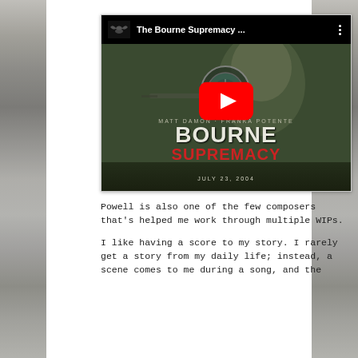[Figure (screenshot): YouTube video thumbnail for 'The Bourne Supremacy ...' showing movie poster with man looking through a rifle scope, large red YouTube play button in center. Movie poster shows 'THE BOURNE SUPREMACY' title text and 'JULY 23, 2004' release date.]
Powell is also one of the few composers that's helped me work through multiple WIPs.
I like having a score to my story. I rarely get a story from my daily life; instead, a scene comes to me during a song, and the